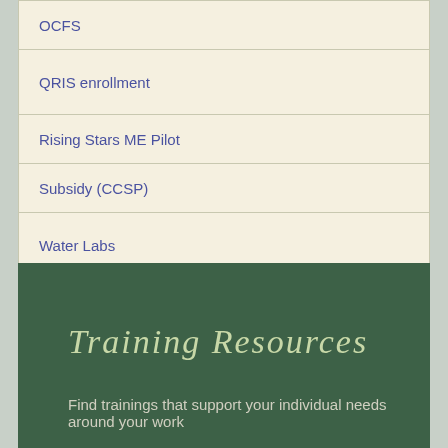OCFS
QRIS enrollment
Rising Stars ME Pilot
Subsidy (CCSP)
Water Labs
*licensing rule resources can be found in the top menu under Licensing Rule and Business Toolkit
Training Resources
Find trainings that support your individual needs around your work